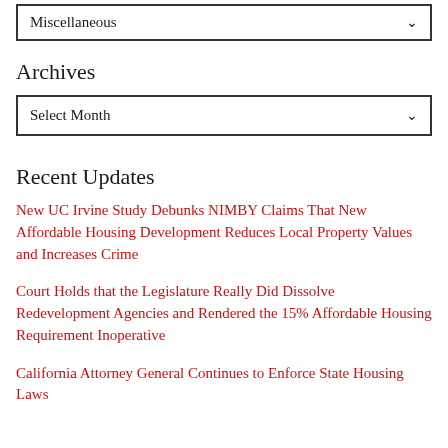Miscellaneous
Archives
Select Month
Recent Updates
New UC Irvine Study Debunks NIMBY Claims That New Affordable Housing Development Reduces Local Property Values and Increases Crime
Court Holds that the Legislature Really Did Dissolve Redevelopment Agencies and Rendered the 15% Affordable Housing Requirement Inoperative
California Attorney General Continues to Enforce State Housing Laws